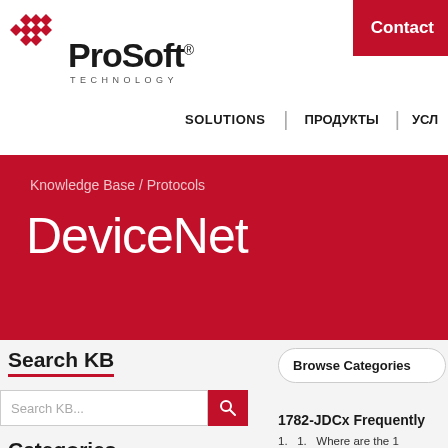[Figure (logo): ProSoft Technology logo with red diamond grid and bold text]
Contact | SOLUTIONS | ПРОДУКТЫ | УСЛ
DeviceNet
Knowledge Base / Protocols
Search KB
Search KB...
Categories
Browse Categories
1782-JDCx Frequently
1.  1.  Where are the 1
are available from our web site...